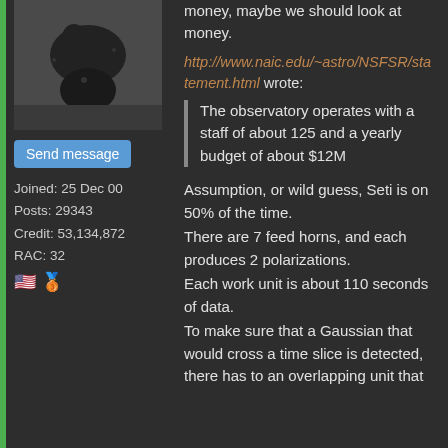[Figure (photo): Black squirrel on a dark surface, avatar image]
Send message
Joined: 25 Dec 00
Posts: 29343
Credit: 53,134,872
RAC: 32
🇺🇸 🥉
money, maybe we should look at money.
http://www.naic.edu/~astro/NSFSR/statement.html wrote:
The observatory operates with a staff of about 125 and a yearly budget of about $12M
Assumption, or wild guess, Seti is on 50% of the time.
There are 7 feed horns, and each produces 2 polarizations.
Each work unit is about 110 seconds of data.
To make sure that a Gaussian that would cross a time slice is detected, there has to an overlapping unit that